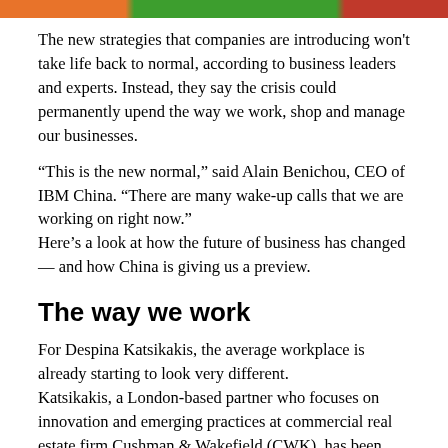[Figure (photo): Partial image strip at top of page showing colorful images (orange, green, red color blocks)]
The new strategies that companies are introducing won't take life back to normal, according to business leaders and experts. Instead, they say the crisis could permanently upend the way we work, shop and manage our businesses.
“This is the new normal,” said Alain Benichou, CEO of IBM China. “There are many wake-up calls that we are working on right now.” Here’s a look at how the future of business has changed — and how China is giving us a preview.
The way we work
For Despina Katsikakis, the average workplace is already starting to look very different. Katsikakis, a London-based partner who focuses on innovation and emerging practices at commercial real estate firm Cushman & Wakefield (CWK), has been